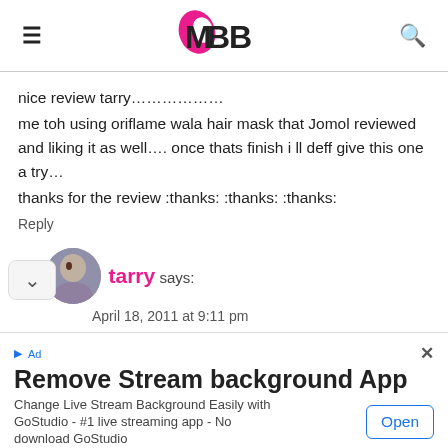IMBB
nice review tarry………………
me toh using oriflame wala hair mask that Jomol reviewed and liking it as well…. once thats finish i ll deff give this one a try…
thanks for the review :thanks: :thanks: :thanks:
Reply
1. tarry says:
April 18, 2011 at 9:11 pm
Navpreet…
U toh have straight hair na… try liss ultime from the same range then
[Figure (other): Advertisement banner: Remove Stream background App - Change Live Stream Background Easily with GoStudio - #1 live streaming app - No download GoStudio. Open button.]